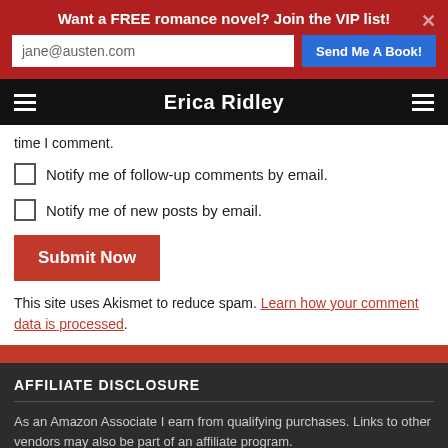Want a FREE romance novel? Join the VIP list!
Erica Ridley
time I comment.
Notify me of follow-up comments by email.
Notify me of new posts by email.
Submit Now
This site uses Akismet to reduce spam. Learn how your comment data is processed.
AFFILIATE DISCLOSURE
As an Amazon Associate I earn from qualifying purchases. Links to other vendors may also be part of an affiliate program.